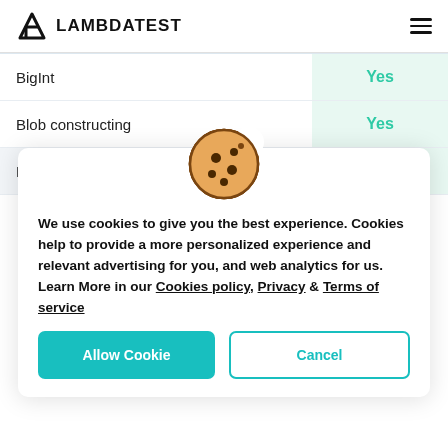LAMBDATEST
| Feature | Supported |
| --- | --- |
| BigInt | Yes |
| Blob constructing | Yes |
| Blob URLs | Yes |
[Figure (illustration): Cookie emoji icon — a round cookie with chocolate chip spots and a bite taken out]
We use cookies to give you the best experience. Cookies help to provide a more personalized experience and relevant advertising for you, and web analytics for us. Learn More in our Cookies policy, Privacy & Terms of service
Allow Cookie | Cancel